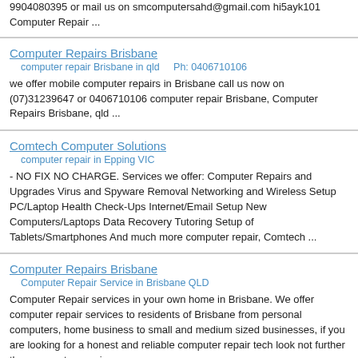9904080395 or mail us on smcomputersahd@gmail.com hi5ayk101 Computer Repair ...
Computer Repairs Brisbane
computer repair Brisbane in qld    Ph: 0406710106
we offer mobile computer repairs in Brisbane call us now on (07)31239647 or 0406710106 computer repair Brisbane, Computer Repairs Brisbane, qld ...
Comtech Computer Solutions
computer repair in Epping VIC
- NO FIX NO CHARGE. Services we offer: Computer Repairs and Upgrades Virus and Spyware Removal Networking and Wireless Setup PC/Laptop Health Check-Ups Internet/Email Setup New Computers/Laptops Data Recovery Tutoring Setup of Tablets/Smartphones And much more computer repair, Comtech ...
Computer Repairs Brisbane
Computer Repair Service in Brisbane QLD
Computer Repair services in your own home in Brisbane. We offer computer repair services to residents of Brisbane from personal computers, home business to small and medium sized businesses, if you are looking for a honest and reliable computer repair tech look not further then computer repairs ...